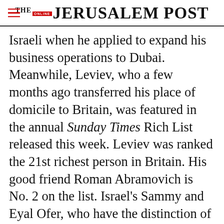THE JERUSALEM POST
Israeli when he applied to expand his business operations to Dubai. Meanwhile, Leviev, who a few months ago transferred his place of domicile to Britain, was featured in the annual Sunday Times Rich List released this week. Leviev was ranked the 21st richest person in Britain. His good friend Roman Abramovich is No. 2 on the list. Israel's Sammy and Eyal Ofer, who have the distinction of also appearing on the Forbes list of the world's richest people, as do Abramovich and
Advertisement